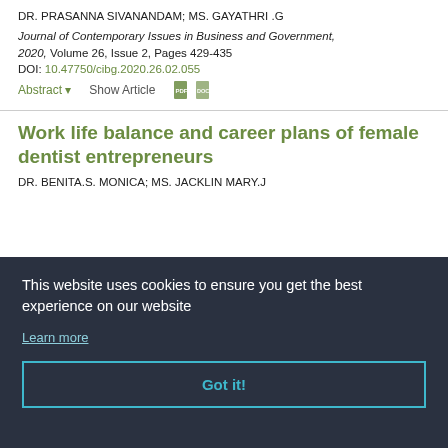DR. PRASANNA SIVANANDAM; MS. GAYATHRI .G
Journal of Contemporary Issues in Business and Government, 2020, Volume 26, Issue 2, Pages 429-435
DOI: 10.47750/cibg.2020.26.02.055
Abstract ▾    Show Article
Work life balance and career plans of female dentist entrepreneurs
DR. BENITA.S. MONICA; MS. JACKLIN MARY.J
This website uses cookies to ensure you get the best experience on our website
Learn more
Got it!
DR. BENITA.S. MONICA; MS. GHAYATHRI N